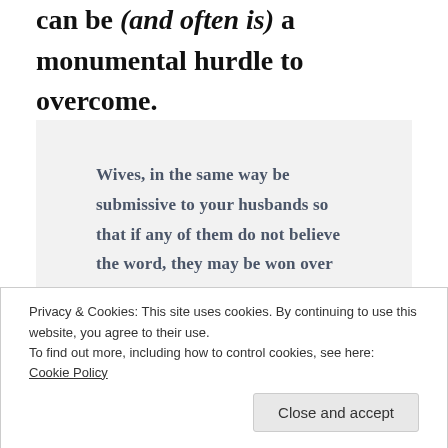can be (and often is) a monumental hurdle to overcome.
Wives, in the same way be submissive to your husbands so that if any of them do not believe the word, they may be won over without words by the behavior of their wives,
Privacy & Cookies: This site uses cookies. By continuing to use this website, you agree to their use.
To find out more, including how to control cookies, see here: Cookie Policy
Close and accept